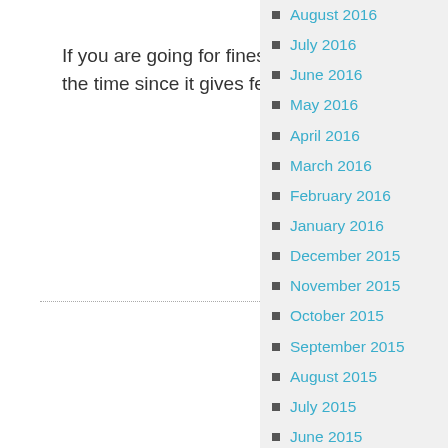If you are going for finest contents like myself, simply visit this site all the time since it gives feature contents, thanks
August 2016
July 2016
June 2016
May 2016
April 2016
March 2016
February 2016
January 2016
December 2015
November 2015
October 2015
September 2015
August 2015
July 2015
June 2015
May 2015
April 2015
March 2015
February 2015